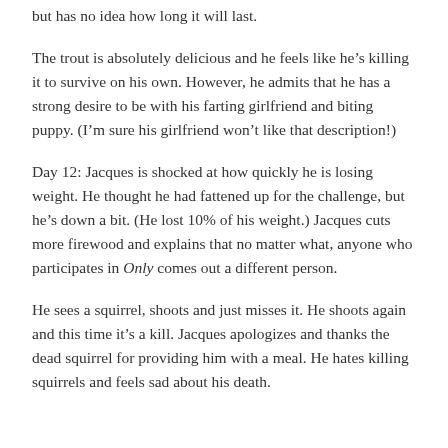but has no idea how long it will last.
The trout is absolutely delicious and he feels like he’s killing it to survive on his own. However, he admits that he has a strong desire to be with his farting girlfriend and biting puppy. (I’m sure his girlfriend won’t like that description!)
Day 12: Jacques is shocked at how quickly he is losing weight. He thought he had fattened up for the challenge, but he’s down a bit. (He lost 10% of his weight.) Jacques cuts more firewood and explains that no matter what, anyone who participates in Only comes out a different person.
He sees a squirrel, shoots and just misses it. He shoots again and this time it’s a kill. Jacques apologizes and thanks the dead squirrel for providing him with a meal. He hates killing squirrels and feels sad about his death.